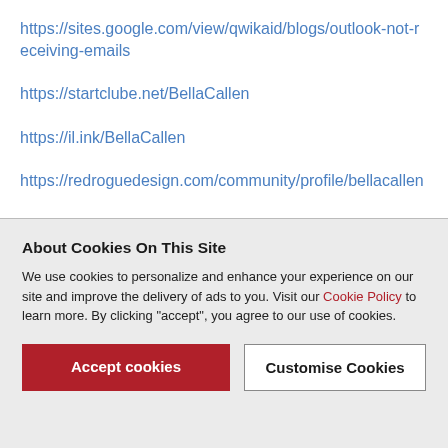https://sites.google.com/view/qwikaid/blogs/outlook-not-receiving-emails
https://startclube.net/BellaCallen
https://il.ink/BellaCallen
https://redroguedesign.com/community/profile/bellacallen
About Cookies On This Site
We use cookies to personalize and enhance your experience on our site and improve the delivery of ads to you. Visit our Cookie Policy to learn more. By clicking "accept", you agree to our use of cookies.
Accept cookies
Customise Cookies